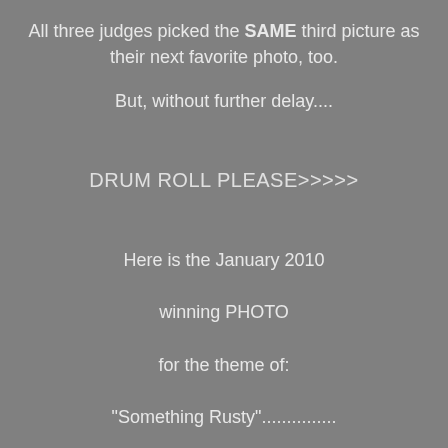All three judges picked the SAME third picture as their next favorite photo, too.
But, without further delay....
DRUM ROLL PLEASE>>>>>
Here is the January 2010

winning PHOTO

for the theme of:

"Something Rusty"...............